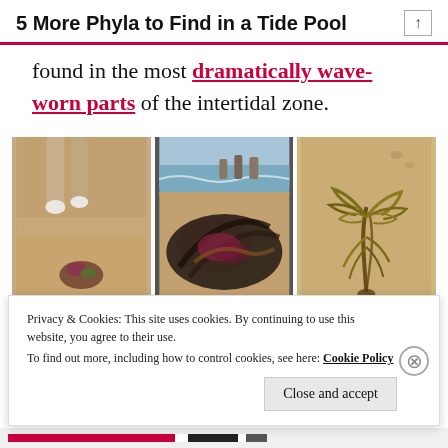5 More Phyla to Find in a Tide Pool
found in the most dramatically wave-worn parts of the intertidal zone.
[Figure (photo): Three side-by-side photos of seaweed and marine algae on sandy beach. Left: close-up of small plant/algae in sand with animal legs visible above. Center: pile of dark seaweed/kelp on beach with ocean visible in background. Right: single branching yellow-green seaweed specimen lying on sand.]
Privacy & Cookies: This site uses cookies. By continuing to use this website, you agree to their use. To find out more, including how to control cookies, see here: Cookie Policy
Close and accept